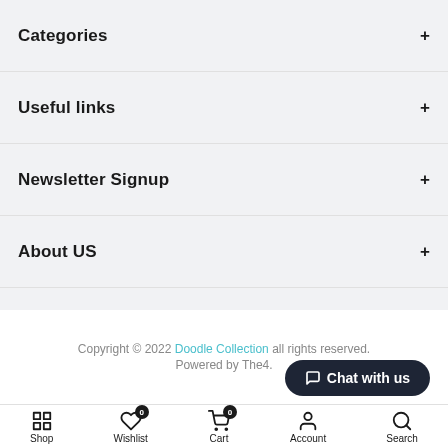Categories
Useful links
Newsletter Signup
About US
Copyright © 2022 Doodle Collection all rights reserved. Powered by The4.
Shop  Wishlist 0  Cart 0  Account  Search